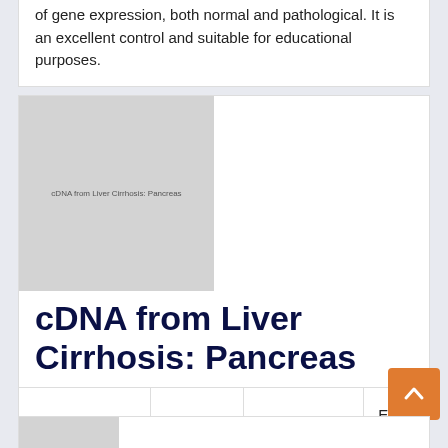of gene expression, both normal and pathological. It is an excellent control and suitable for educational purposes.
[Figure (photo): Product image placeholder for cDNA from Liver Cirrhosis: Pancreas]
cDNA from Liver Cirrhosis: Pancreas
| Code | Supplier | Quantity | Price |
| --- | --- | --- | --- |
| C1236188Lcs | Biochain | 40 reactions | EUR 668 |
Description: Can be used for various studies in the realm of gene expression, both normal and pathological. It is an excellent control and suitable for educational purposes.